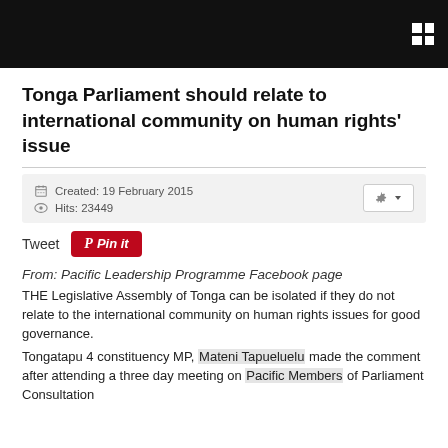Tonga Parliament should relate to international community on human rights' issue
Created: 19 February 2015
Hits: 23449
Tweet  Pin it
From: Pacific Leadership Programme Facebook page
THE Legislative Assembly of Tonga can be isolated if they do not relate to the international community on human rights issues for good governance.
Tongatapu 4 constituency MP, Mateni Tapueluelu made the comment after attending a three day meeting on Pacific Members of Parliament Consultation